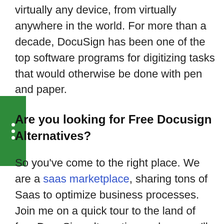virtually any device, from virtually anywhere in the world. For more than a decade, DocuSign has been one of the top software programs for digitizing tasks that would otherwise be done with pen and paper.
Are you looking for Free Docusign Alternatives?
So you've come to the right place. We are a saas marketplace, sharing tons of Saas to optimize business processes. Join me on a quick tour to the land of free DocuSign alternatives, where you'll discover several solutions that may just change